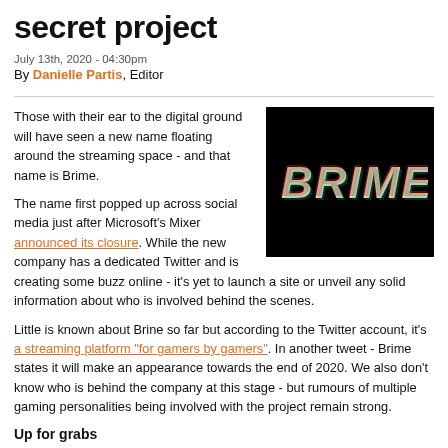secret project
July 13th, 2020 - 04:30pm
By Danielle Partis, Editor
Those with their ear to the digital ground will have seen a new name floating around the streaming space - and that name is Brime.
[Figure (logo): BRIME logo — white glitchy text on black background]
The name first popped up across social media just after Microsoft's Mixer announced its closure. While the new company has a dedicated Twitter and is creating some buzz online - it's yet to launch a site or unveil any solid information about who is involved behind the scenes.
Little is known about Brine so far but according to the Twitter account, it's a streaming platform "for gamers by gamers". In another tweet - Brime states it will make an appearance towards the end of 2020. We also don't know who is behind the company at this stage - but rumours of multiple gaming personalities being involved with the project remain strong.
Up for grabs
Two of the industry's biggest streamers - Ninja and Shroud - are both free agents following the demise of Mixer. They have both